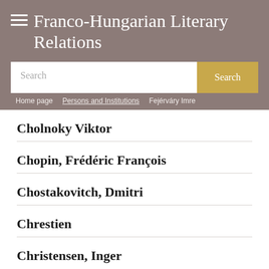Franco-Hungarian Literary Relations
Search
Home page / Persons and Institutions / Fejérváry Imre
Cholnoky Viktor
Chopin, Frédéric François
Chostakovitch, Dmitri
Chrestien
Christensen, Inger